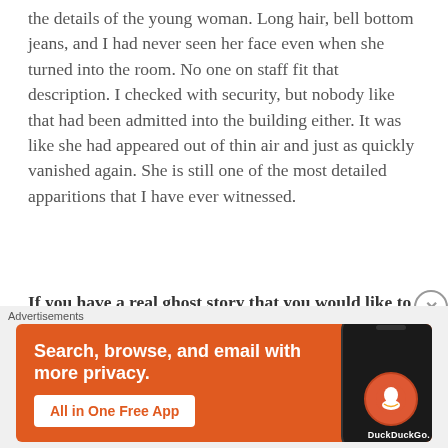the details of the young woman.  Long hair, bell bottom jeans, and I had never seen her face even when she turned into the room.  No one on staff fit that description.  I checked with security, but nobody like that had been admitted into the building either.  It was like she had appeared out of thin air and just as quickly vanished again.  She is still one of the most detailed apparitions that I have ever witnessed.
If you have a real ghost story that you would like to share with The Ghost Post, send an email with your contact information to Tara Theresa Hill at
Advertisements
[Figure (screenshot): DuckDuckGo advertisement banner with orange background. Text: 'Search, browse, and email with more privacy.' Button: 'All in One Free App'. Shows a smartphone with DuckDuckGo logo.]